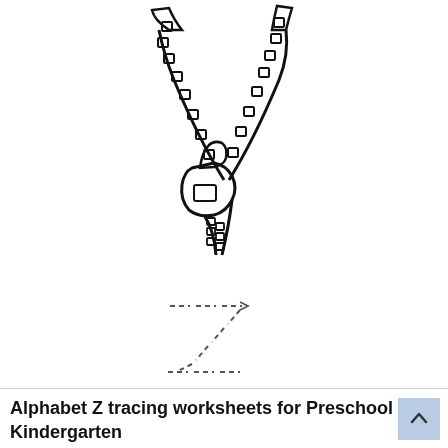[Figure (illustration): Line drawing of a zipper (zip fastener) with teeth and pull tab, open at top, black outlines on white background]
[Figure (other): Dotted letter Z tracing guide for handwriting practice — dashed lines forming the letter Z shape for children to trace]
Alphabet Z tracing worksheets for Preschool and Kindergarten